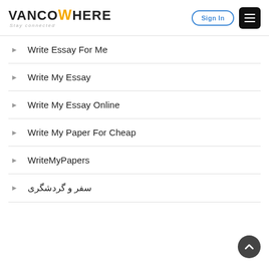VANCOWHERE Stay connected — Sign In
Write Essay For Me
Write My Essay
Write My Essay Online
Write My Paper For Cheap
WriteMyPapers
سفر و گردشگری